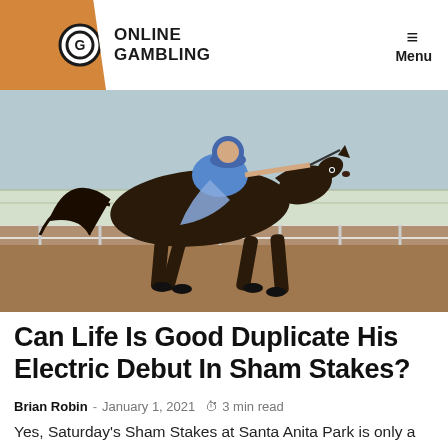ONLINE GAMBLING  Menu
[Figure (photo): A dark brown racehorse with jockey in blue silks galloping on a dirt track at a racing facility, likely Santa Anita Park.]
Can Life Is Good Duplicate His Electric Debut In Sham Stakes?
Brian Robin - January 1, 2021  3 min read
Yes, Saturday's Sham Stakes at Santa Anita Park is only a Grade 3 stakes race for three-year-olds. But...